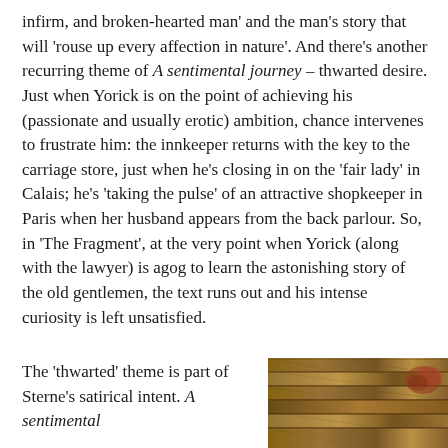infirm, and broken-hearted man' and the man's story that will 'rouse up every affection in nature'.  And there's another recurring theme of A sentimental journey – thwarted desire.  Just when Yorick is on the point of achieving his (passionate and usually erotic) ambition, chance intervenes to frustrate him: the innkeeper returns with the key to the carriage store, just when he's closing in on the 'fair lady' in Calais; he's 'taking the pulse' of an attractive shopkeeper in Paris when her husband appears from the back parlour.  So, in 'The Fragment', at the very point when Yorick (along with the lawyer) is agog to learn the astonishing story of the old gentlemen, the text runs out and his intense curiosity is left unsatisfied.
The 'thwarted' theme is part of Sterne's satirical intent.  A sentimental
[Figure (photo): A photograph showing wooden texture or woven material with warm brown tones and a hint of reddish color, partially visible at the bottom right of the page.]